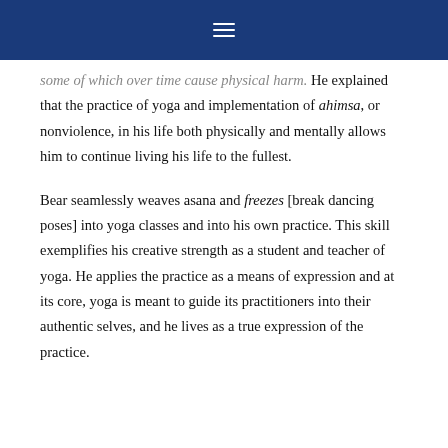≡
some of which over time cause physical harm. He explained that the practice of yoga and implementation of ahimsa, or nonviolence, in his life both physically and mentally allows him to continue living his life to the fullest.
Bear seamlessly weaves asana and freezes [break dancing poses] into yoga classes and into his own practice. This skill exemplifies his creative strength as a student and teacher of yoga. He applies the practice as a means of expression and at its core, yoga is meant to guide its practitioners into their authentic selves, and he lives as a true expression of the practice.